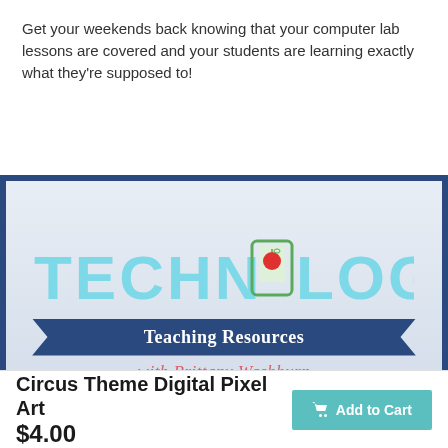Get your weekends back knowing that your computer lab lessons are covered and your students are learning exactly what they're supposed to!
[Figure (logo): Technology Teaching Resources with Brittany Washburn logo on dark blue background with tablet icon replacing the 'O' in TECHNOLOGY]
Circus Theme Digital Pixel Art $4.00
Add to Cart